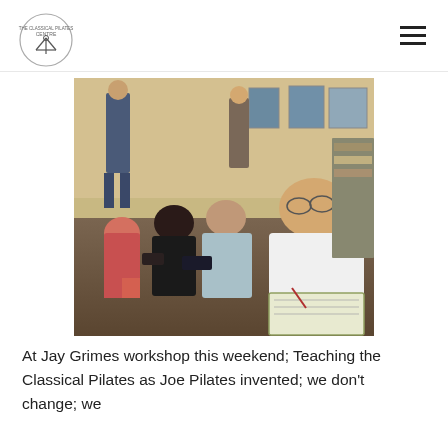[Figure (photo): Group of people sitting on the floor of a Pilates studio, attentively listening during a workshop. A man stands in the background near Pilates equipment. Framed photos hang on the wall. In the foreground, a woman with glasses and a white top holds a pen and has a notebook on her lap.]
At Jay Grimes workshop this weekend; Teaching the Classical Pilates as Joe Pilates invented; we don't change; we